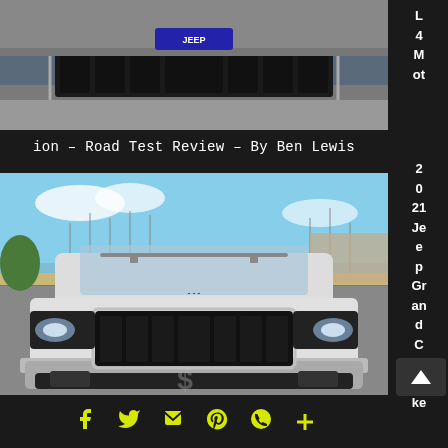[Figure (photo): Top portion of a car front grille/bumper, cropped, against a parking area background]
ion – Road Test Review – By Ben Lewis
[Figure (photo): 2021 Jeep Grand Cherokee front view, silver/white color, parked at a marina with sailboats in background]
L 4 Mot ion – Road Test Review – By Ben Lewis 2 0 21 Je e p Gr an d C he ro ke
Social share icons: Facebook, Twitter, Share, Pinterest, WhatsApp, Plus